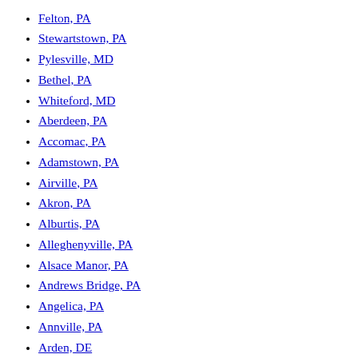Felton, PA
Stewartstown, PA
Pylesville, MD
Bethel, PA
Whiteford, MD
Aberdeen, PA
Accomac, PA
Adamstown, PA
Airville, PA
Akron, PA
Alburtis, PA
Alleghenyville, PA
Alsace Manor, PA
Andrews Bridge, PA
Angelica, PA
Annville, PA
Arden, DE
Atglen, PA
Avon, PA
Avon Heights, PA
Avondale, PA
Bally, PA
Bamford, PA